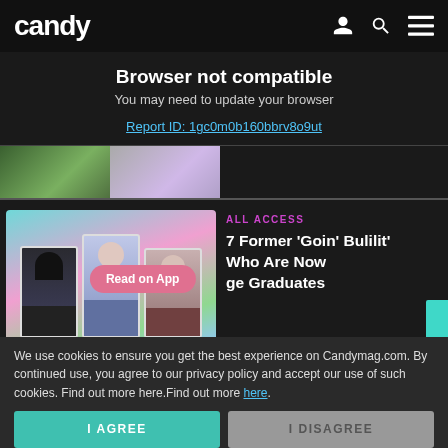candy
Browser not compatible
You may need to update your browser
Report ID: 1gc0m0b160bbrv8o9ut
[Figure (photo): Partial article thumbnail images showing two photos side by side]
[Figure (photo): Graduation photo collage with Read on App pink button overlay]
ALL ACCESS
7 Former 'Goin' Bulilit' Who Are Now ge Graduates
We use cookies to ensure you get the best experience on Candymag.com. By continued use, you agree to our privacy policy and accept our use of such cookies. Find out more here.Find out more here.
I AGREE
I DISAGREE